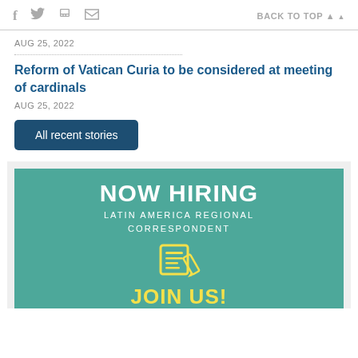f  🐦  🖨  ✉  BACK TO TOP ▲
AUG 25, 2022
Reform of Vatican Curia to be considered at meeting of cardinals
AUG 25, 2022
All recent stories
[Figure (infographic): NOW HIRING banner with teal background, text 'LATIN AMERICA REGIONAL CORRESPONDENT', newspaper/pen icon in yellow, and 'JOIN US!' text at the bottom in yellow.]